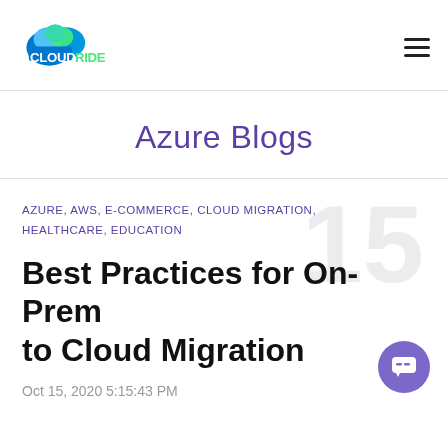[Figure (logo): CloudRide logo with cloud icon and text CLOUDRIDE]
Azure Blogs
AZURE, AWS, E-COMMERCE, CLOUD MIGRATION, HEALTHCARE, EDUCATION
Best Practices for On-Prem to Cloud Migration
Oct 15, 2020 5:15:43 PM